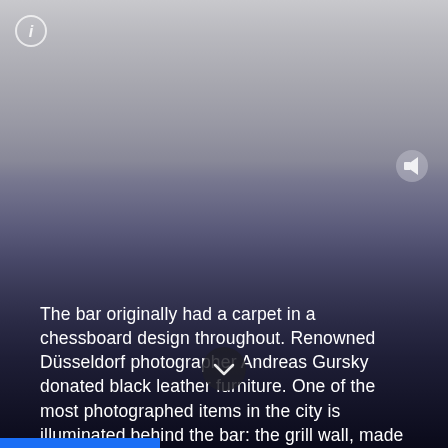[Figure (illustration): Info icon (circle with 'i') in top left corner]
[Figure (illustration): Speaker/audio icon in top right area]
The bar originally had a carpet in a chessboard design throughout. Renowned Düsseldorf photographer Andreas Gursky donated black leather furniture. One of the most photographed items in the city is illuminated behind the bar: the grill wall, made of Anröchter natural stone. It's a reference to the Cabinet of Abstract Items (Kabinett der Abstrakten) by constructivist Eliezer "El" Lissitzky, whose work inspired the artwork for Kraftwerk's The Man-Machine.
[Figure (illustration): Chevron down arrow button in dark circle at bottom center]